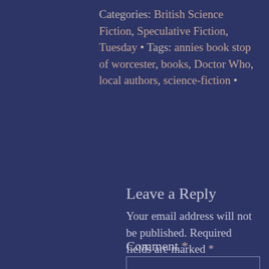Categories: British Science Fiction, Speculative Fiction, Tuesday • Tags: annies book stop of worcester, books, Doctor Who, local authors, science-fiction •
Leave a Reply
Your email address will not be published. Required fields are marked *
Comment *